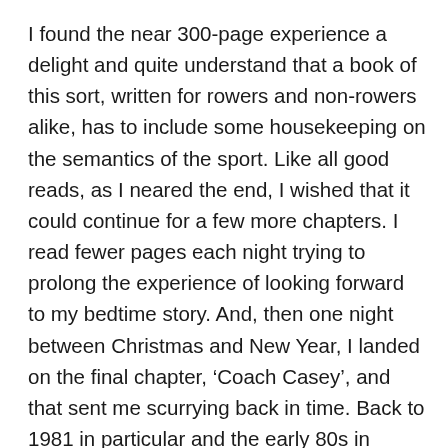I found the near 300-page experience a delight and quite understand that a book of this sort, written for rowers and non-rowers alike, has to include some housekeeping on the semantics of the sport. Like all good reads, as I neared the end, I wished that it could continue for a few more chapters. I read fewer pages each night trying to prolong the experience of looking forward to my bedtime story. And, then one night between Christmas and New Year, I landed on the final chapter, ‘Coach Casey’, and that sent me scurrying back in time. Back to 1981 in particular and the early 80s in general. For not only does this chapter deal with Casey the coach, but it also deals with Casey the rower and how our paths crossed as Skibbereen took a major step to recognition by the more established clubs.
In his youth, Dominic Casey played a bit of Gaelic football,